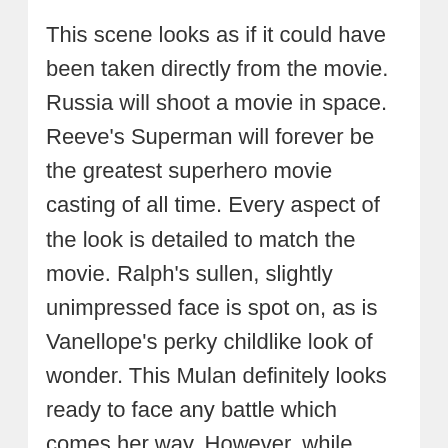This scene looks as if it could have been taken directly from the movie. Russia will shoot a movie in space. Reeve's Superman will forever be the greatest superhero movie casting of all time. Every aspect of the look is detailed to match the movie. Ralph's sullen, slightly unimpressed face is spot on, as is Vanellope's perky childlike look of wonder. This Mulan definitely looks ready to face any battle which comes her way. However, while Meghan donned a white baseball cap, her lookalike had sunglasses sitting on top of her head, likely so her face would be seen on camera. Anna even has the white streak in her hair. Also I can't stop looking at Ken's hair. Start with Alice, Amelia, and Artomis and continue on to Captain